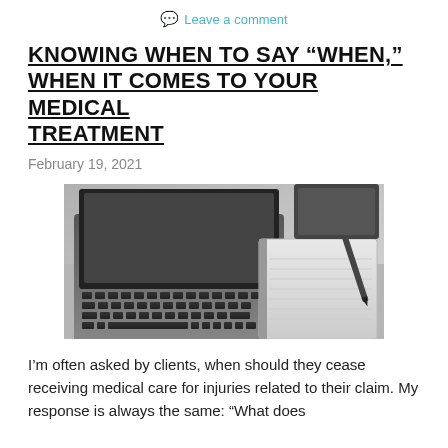Leave a comment
KNOWING WHEN TO SAY “WHEN,” WHEN IT COMES TO YOUR MEDICAL TREATMENT
February 19, 2021
[Figure (photo): Black and white photo of a laptop keyboard with a notebook and pen on a desk]
I’m often asked by clients, when should they cease receiving medical care for injuries related to their claim. My response is always the same: “What does